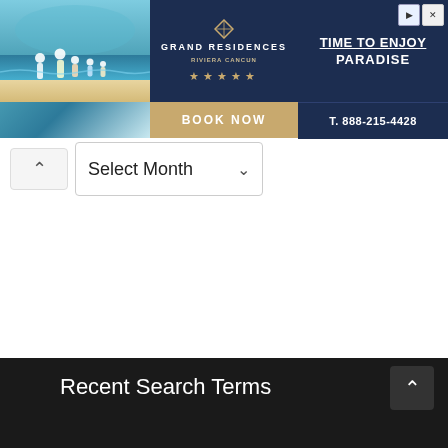[Figure (screenshot): Grand Residences Riviera Cancun advertisement banner with beach family photo, brand name, 'TIME TO ENJOY PARADISE' tagline, BOOK NOW button, and phone number T. 888-215-4428]
[Figure (screenshot): UI element: collapse/expand chevron button (up arrow) and Select Month dropdown]
Select Month
Recent Search Terms
2023 ram 3500